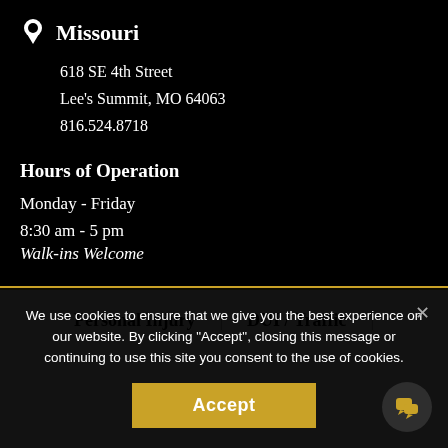Missouri
618 SE 4th Street
Lee's Summit, MO 64063
816.524.8718
Hours of Operation
Monday - Friday
8:30 am - 5 pm
Walk-ins Welcome
Personal Injury  |  DUI / Traffic  |
We use cookies to ensure that we give you the best experience on our website. By clicking "Accept", closing this message or continuing to use this site you consent to the use of cookies.